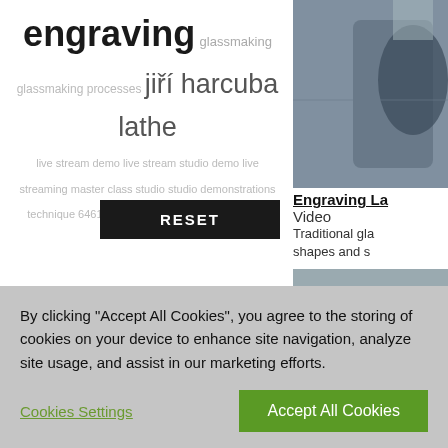engraving glassmaking glassmaking processes jiří harcuba lathe live stream demo live stream studio demo live streaming master class studio studio demonstrations technique 64615 119449 134371 134372 134516
RESET
[Figure (photo): Close-up photo of engraved glass object, dark and light tones]
Engraving La...
Video
Traditional gla... shapes and s...
[Figure (photo): Hands working on engraving a glass piece in a studio]
Pavlína Čamb...
Video
Watch as Pav... focused on th... deep carving,...
[Figure (photo): Close-up of lathe or mechanical engraving equipment]
Master Class...
Video
By clicking "Accept All Cookies", you agree to the storing of cookies on your device to enhance site navigation, analyze site usage, and assist in our marketing efforts.
Cookies Settings
Accept All Cookies